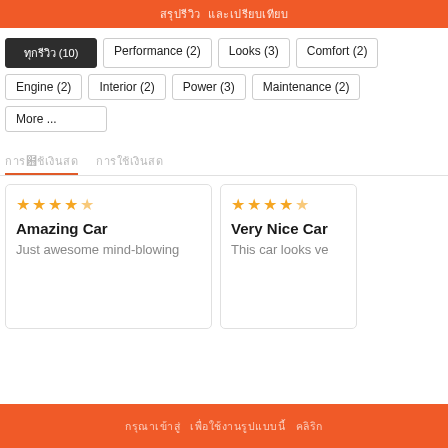[Thai text banner - orange header]
All (10)
Performance (2)
Looks (3)
Comfort (2)
Engine (2)
Interior (2)
Power (3)
Maintenance (2)
More ...
[Thai tab 1] [Thai tab 2]
Amazing Car — Just awesome mind-blowing
Very Nice Car — This car looks ve...
[Thai footer button text]